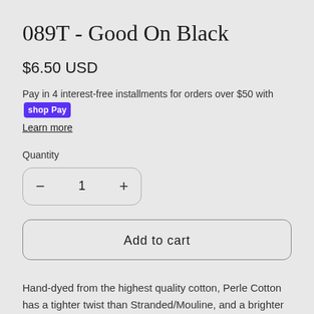089T - Good On Black
$6.50 USD
Pay in 4 interest-free installments for orders over $50 with Shop Pay
Learn more
Quantity
1
Add to cart
Hand-dyed from the highest quality cotton, Perle Cotton has a tighter twist than Stranded/Mouline, and a brighter